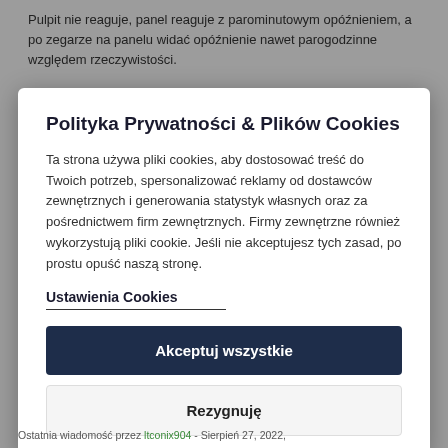Pulpit nie reaguje, panel reaguje z parominutowym opóźnieniem, a po zegarze na panelu widać opóźnienie nawet parogodzinne względem rzeczywistości.
Programy działają normalnie – tylko trzeba je uruchomić poprzez
Polityka Prywatności & Plików Cookies
Ta strona używa pliki cookies, aby dostosować treść do Twoich potrzeb, spersonalizować reklamy od dostawców zewnętrznych i generowania statystyk własnych oraz za pośrednictwem firm zewnętrznych. Firmy zewnętrzne również wykorzystują pliki cookie. Jeśli nie akceptujesz tych zasad, po prostu opuść naszą stronę.
Ustawienia Cookies
Akceptuj wszystkie
Rezygnuję
Ostatnia wiadomość przez ltconix904 - Sierpień 27, 2022,